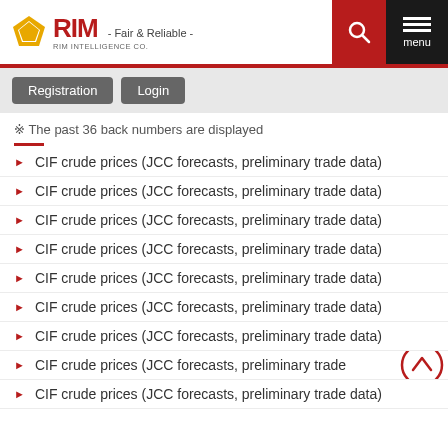RIM Intelligence Co. - Fair & Reliable -
Registration  Login
※ The past 36 back numbers are displayed
CIF crude prices (JCC forecasts, preliminary trade data)
CIF crude prices (JCC forecasts, preliminary trade data)
CIF crude prices (JCC forecasts, preliminary trade data)
CIF crude prices (JCC forecasts, preliminary trade data)
CIF crude prices (JCC forecasts, preliminary trade data)
CIF crude prices (JCC forecasts, preliminary trade data)
CIF crude prices (JCC forecasts, preliminary trade data)
CIF crude prices (JCC forecasts, preliminary trade data)
CIF crude prices (JCC forecasts, preliminary trade data)